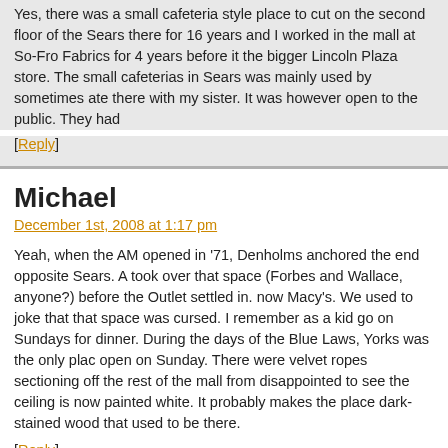Yes, there was a small cafeteria style place to cut on the second floor of the Sears there for 16 years and I worked in the mall at So-Fro Fabrics for 4 years before it the bigger Lincoln Plaza store. The small cafeterias in Sears was mainly used by sometimes ate there with my sister. It was however open to the public. They had
[Reply]
Michael
December 1st, 2008 at 1:17 pm
Yeah, when the AM opened in '71, Denholms anchored the end opposite Sears. A took over that space (Forbes and Wallace, anyone?) before the Outlet settled in. now Macy's. We used to joke that that space was cursed. I remember as a kid go on Sundays for dinner. During the days of the Blue Laws, Yorks was the only plac open on Sunday. There were velvet ropes sectioning off the rest of the mall from disappointed to see the ceiling is now painted white. It probably makes the place dark-stained wood that used to be there.
[Reply]
Betsy
December 18th, 2008 at 8:46 pm